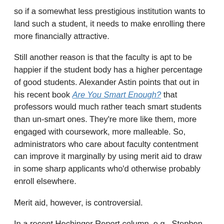so if a somewhat less prestigious institution wants to land such a student, it needs to make enrolling there more financially attractive.
Still another reason is that the faculty is apt to be happier if the student body has a higher percentage of good students. Alexander Astin points that out in his recent book Are You Smart Enough? that professors would much rather teach smart students than un-smart ones. They're more like them, more engaged with coursework, more malleable. So, administrators who care about faculty contentment can improve it marginally by using merit aid to draw in some sharp applicants who'd otherwise probably enroll elsewhere.
Merit aid, however, is controversial.
In a recent Hechinger Report column, e.g., Stephen Burd decried “The troubling use of ‘merit aid’ at public flagships and research universities.”
Burd is bothered by the high percentage of students who receive